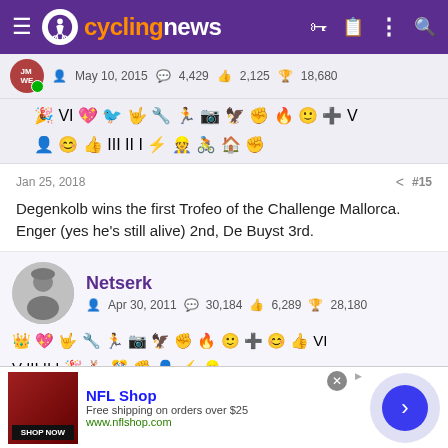cyclingnews navigation bar
May 10, 2015  4,429  2,125  18,680
[Figure (other): Row of emoji/badge icons for user achievements]
Jan 25, 2018   #15
Degenkolb wins the first Trofeo of the Challenge Mallorca. Enger (yes he's still alive) 2nd, De Buyst 3rd.
Netserk
Apr 30, 2011  30,184  6,289  28,180
[Figure (other): Row of emoji/badge icons for Netserk user achievements]
[Figure (other): NFL Shop advertisement banner: Free shipping on orders over $25, www.nflshop.com, SHOP NOW button]